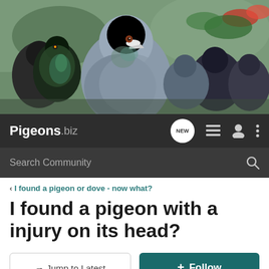[Figure (photo): Banner photo showing multiple pigeons/doves clustered together, including a large grey pigeon in the center foreground and several darker pigeons around it, with a blurred outdoor background]
Pigeons.biz — navigation bar with NEW chat bubble, menu icon, profile icon, and more options icon
Search Community
< I found a pigeon or dove - now what?
I found a pigeon with a injury on its head?
→ Jump to Latest
+ Follow
1 - 8 of 8 Posts